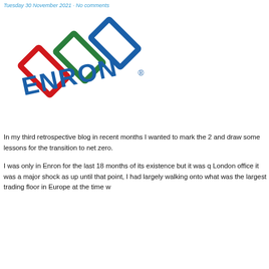Tuesday 30 November 2021 · No comments
[Figure (logo): Enron company logo — tilted geometric rectangles in red, green, and blue with ENRON text in blue, registered trademark symbol]
In my third retrospective blog in recent months I wanted to mark the 2 and draw some lessons for the transition to net zero.
I was only in Enron for the last 18 months of its existence but it was q London office it was a major shock as up until that point, I had largely walking onto what was the largest trading floor in Europe at the time w